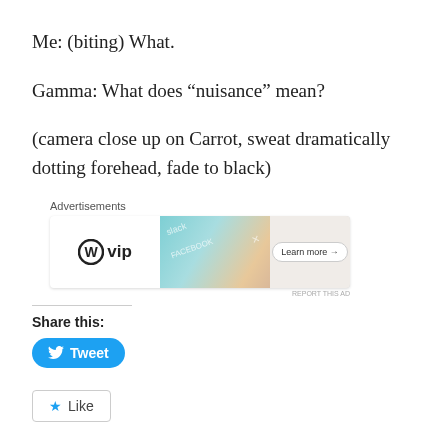Me: (biting) What.
Gamma: What does “nuisance” mean?
(camera close up on Carrot, sweat dramatically dotting forehead, fade to black)
[Figure (screenshot): WordPress VIP advertisement banner with colorful cards showing Slack, Facebook logos and a Learn more button]
Share this:
[Figure (screenshot): Twitter Tweet button, blue rounded rectangle]
[Figure (screenshot): Like button with blue star icon]